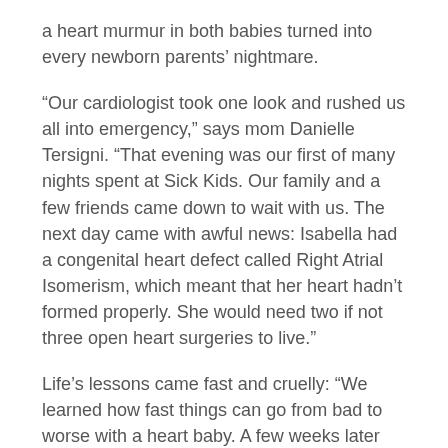a heart murmur in both babies turned into every newborn parents' nightmare.
“Our cardiologist took one look and rushed us all into emergency,” says mom Danielle Tersigni. “That evening was our first of many nights spent at Sick Kids. Our family and a few friends came down to wait with us. The next day came with awful news: Isabella had a congenital heart defect called Right Atrial Isomerism, which meant that her heart hadn’t formed properly. She would need two if not three open heart surgeries to live.”
Life’s lessons came fast and cruelly: “We learned how fast things can go from bad to worse with a heart baby. A few weeks later that is exactly what happened.”
Another routine clinic check up with Isabella triggered an emergency admission and as things